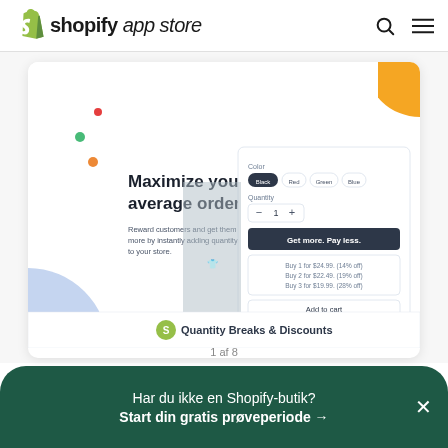shopify app store
[Figure (screenshot): Shopify App Store screenshot showing 'Quantity Breaks & Discounts' app listing. The app card shows 'Maximize your average order value' headline with marketing text, a product UI mockup showing color swatches (Black, Red, Green, Blue), quantity selector, and 'Get more. Pay less.' button with bulk discount tiers. Bottom shows app name 'Quantity Breaks & Discounts' with Shopify logo icon. Decorative colored dots and shapes in corners.]
1 af 8
Har du ikke en Shopify-butik? Start din gratis prøveperiode →